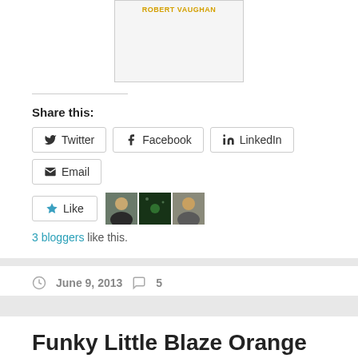[Figure (illustration): Book cover image showing author name ROBERT VAUGHAN in gold/yellow text on a light background, partially visible at top of page]
Share this:
Twitter | Facebook | LinkedIn | Email
Like
[Figure (photo): Three small avatar photos of bloggers who liked the post]
3 bloggers like this.
June 9, 2013   5
Funky Little Blaze Orange Pork Pie Hats